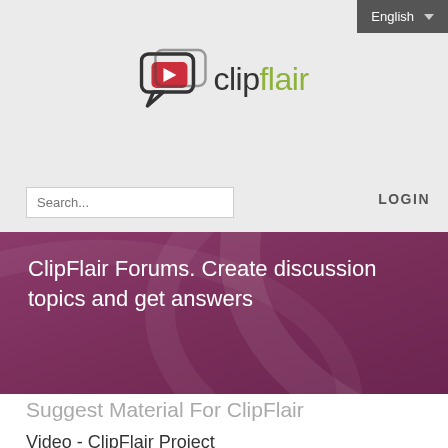English ▼
[Figure (logo): ClipFlair logo with speech bubble and video play icon, text 'clipflair' with 'clip' in dark and 'flair' in olive green]
Search...
LOGIN
ClipFlair Forums. Create discussion topics and get answers
Suggest Material For ClipFlair
Video - ClipFlair Project
Viewed 6511560 Time(S), 658 Post(S), 11/20/2012 3:17:26 PM - By Admin